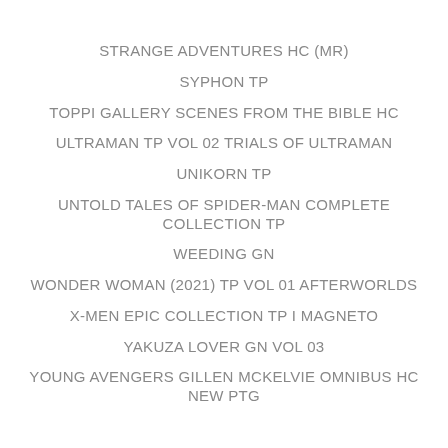STRANGE ADVENTURES HC (MR)
SYPHON TP
TOPPI GALLERY SCENES FROM THE BIBLE HC
ULTRAMAN TP VOL 02 TRIALS OF ULTRAMAN
UNIKORN TP
UNTOLD TALES OF SPIDER-MAN COMPLETE COLLECTION TP
WEEDING GN
WONDER WOMAN (2021) TP VOL 01 AFTERWORLDS
X-MEN EPIC COLLECTION TP I MAGNETO
YAKUZA LOVER GN VOL 03
YOUNG AVENGERS GILLEN MCKELVIE OMNIBUS HC NEW PTG